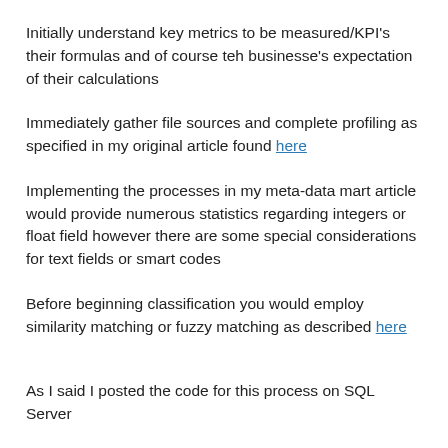Initially understand key metrics to be measured/KPI's their formulas and of course teh businesse's expectation of their calculations
Immediately gather file sources and complete profiling as specified in my original article found here
Implementing the processes in my meta-data mart article would provide numerous statistics regarding integers or float field however there are some special considerations for text fields or smart codes
Before beginning classification you would employ similarity matching or fuzzy matching as described here
As I said I posted the code for this process on SQL Server